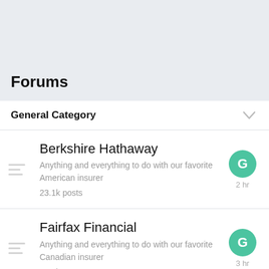Forums
General Category
Berkshire Hathaway
Anything and everything to do with our favorite American insurer
23.1k posts
Fairfax Financial
Anything and everything to do with our favorite Canadian insurer
23.5k posts